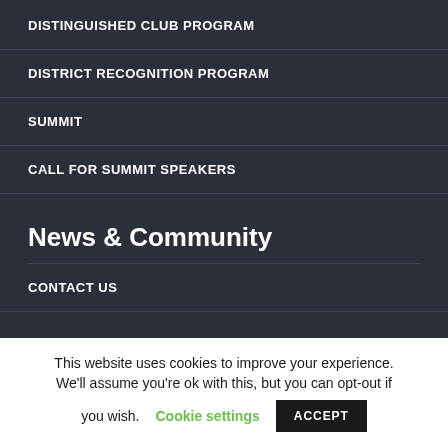DISTINGUISHED CLUB PROGRAM
DISTRICT RECOGNITION PROGRAM
SUMMIT
CALL FOR SUMMIT SPEAKERS
News & Community
CONTACT US
This website uses cookies to improve your experience. We'll assume you're ok with this, but you can opt-out if you wish. Cookie settings ACCEPT